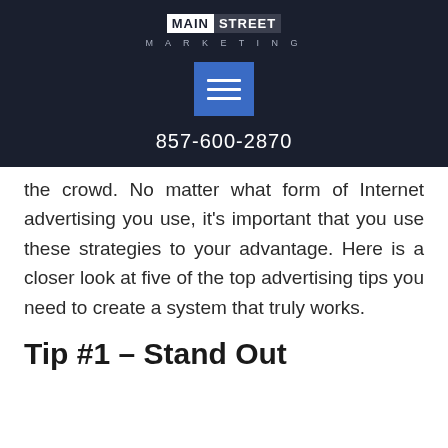[Figure (logo): Main Street Marketing logo with white and dark background wordmark and 'MARKETING' subtitle in spaced caps]
[Figure (other): Blue hamburger menu button with three white horizontal lines]
857-600-2870
the crowd. No matter what form of Internet advertising you use, it's important that you use these strategies to your advantage. Here is a closer look at five of the top advertising tips you need to create a system that truly works.
Tip #1 – Stand Out